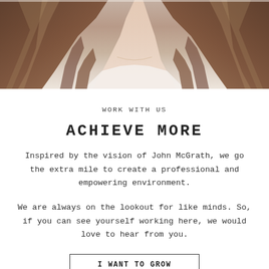[Figure (photo): Close-up photo of a person showing long brown hair and white collar/shirt at the bottom of the frame.]
WORK WITH US
ACHIEVE MORE
Inspired by the vision of John McGrath, we go the extra mile to create a professional and empowering environment.
We are always on the lookout for like minds. So, if you can see yourself working here, we would love to hear from you.
I WANT TO GROW